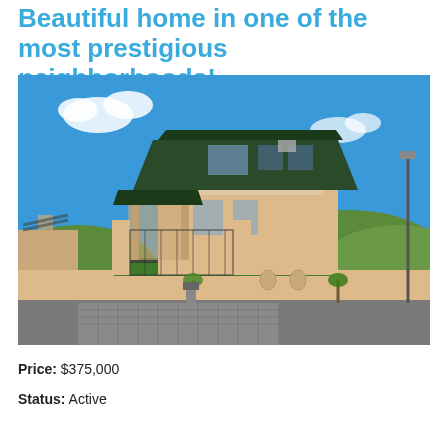Beautiful home in one of the most prestigious neighborhoods!
[Figure (photo): Exterior photo of a two-story beige/tan residential home with a dark roof, gated entrance with pillars, manicured hedge row, palm trees in front, and a paved driveway. Blue sky with a few clouds and green hills visible in the background.]
Price: $375,000
Status: Active